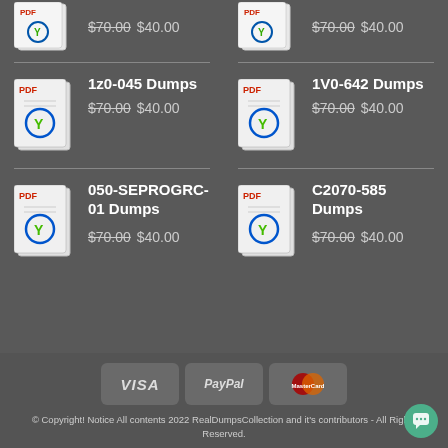[Figure (other): PDF product icon for exam dump]
$70.00 $40.00
[Figure (other): PDF product icon for exam dump]
$70.00 $40.00
1z0-045 Dumps $70.00 $40.00
1V0-642 Dumps $70.00 $40.00
050-SEPROGRC-01 Dumps $70.00 $40.00
C2070-585 Dumps $70.00 $40.00
[Figure (other): Payment method icons: VISA, PayPal, MasterCard]
© Copyright! Notice All contents 2022 RealDumpsCollection and it's contributors - All Rights Reserved.